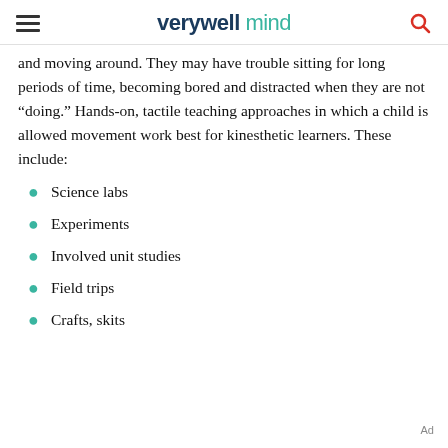verywell mind
and moving around. They may have trouble sitting for long periods of time, becoming bored and distracted when they are not “doing.” Hands-on, tactile teaching approaches in which a child is allowed movement work best for kinesthetic learners. These include:
Science labs
Experiments
Involved unit studies
Field trips
Crafts, skits